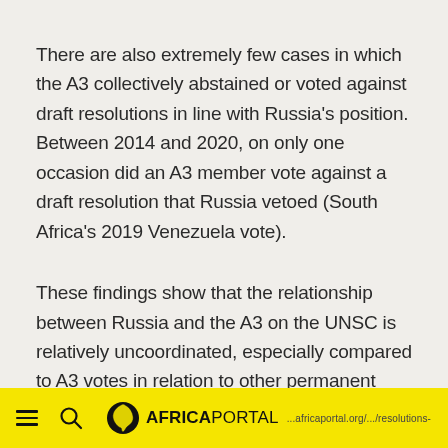There are also extremely few cases in which the A3 collectively abstained or voted against draft resolutions in line with Russia's position. Between 2014 and 2020, on only one occasion did an A3 member vote against a draft resolution that Russia vetoed (South Africa's 2019 Venezuela vote).
These findings show that the relationship between Russia and the A3 on the UNSC is relatively uncoordinated, especially compared to A3 votes in relation to other permanent members. While the SAIIA-ISS study didn't delve
≡  🔍  AFRICAPORTAL  ...africaportal.org/.../resolutions-